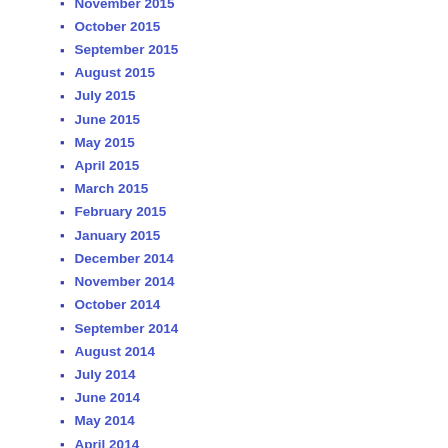November 2015
October 2015
September 2015
August 2015
July 2015
June 2015
May 2015
April 2015
March 2015
February 2015
January 2015
December 2014
November 2014
October 2014
September 2014
August 2014
July 2014
June 2014
May 2014
April 2014
March 2014